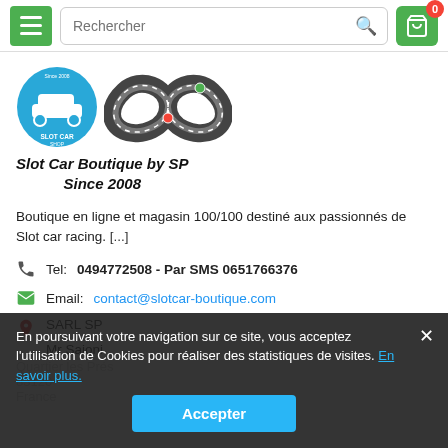Rechercher [search bar] [cart with 0 items]
[Figure (logo): Slot Car Shop circular logo with car silhouette and 'SLOT CAR SHOP' text in blue, plus an infinity-shaped slot car track illustration]
Slot Car Boutique by SP
Since 2008
Boutique en ligne et magasin 100/100 destiné aux passionnés de Slot car racing. [...]
Tel: 0494772508 - Par SMS 0651766376
Email: contact@slotcar-boutique.com
SARL SP
Mr Saioni
En poursuivant votre navigation sur ce site, vous acceptez l'utilisation de Cookies pour réaliser des statistiques de visites. En savoir plus. [Accepter]